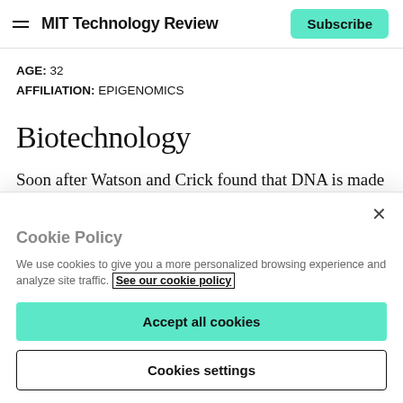MIT Technology Review | Subscribe
AGE: 32
AFFILIATION: EPIGENOMICS
Biotechnology
Soon after Watson and Crick found that DNA is made up of four subunits, including one called cytosine ,scientists
Cookie Policy
We use cookies to give you a more personalized browsing experience and analyze site traffic. See our cookie policy
Accept all cookies
Cookies settings